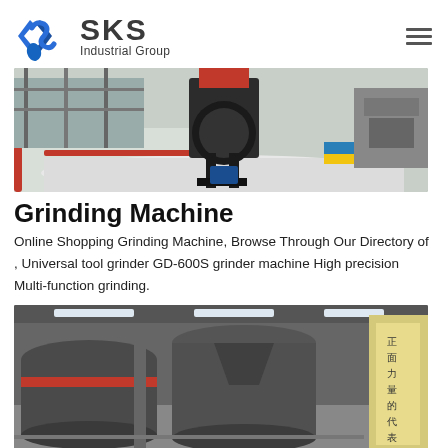[Figure (logo): SKS Industrial Group logo with blue angular S symbol and dark text]
[Figure (photo): Industrial grinding/crushing machine in a factory setting with white gravel/aggregate on the floor, red and blue safety markings]
Grinding Machine
Online Shopping Grinding Machine, Browse Through Our Directory of , Universal tool grinder GD-600S grinder machine High precision Multi-function grinding.
[Figure (photo): Large industrial vertical grinding mill machines inside a factory, with Chinese text on a sign reading 正面力量的代表]